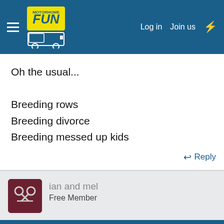Motorhome Fun — Log in  Join us
Oh the usual...

Breeding rows
Breeding divorce
Breeding messed up kids
↩ Reply
ian and mel
Free Member
This site uses cookies to help personalise content, tailor your experience and to keep you logged in if you register.
By continuing to use this site, you are consenting to our use of cookies.
✓ Accept    Learn more...